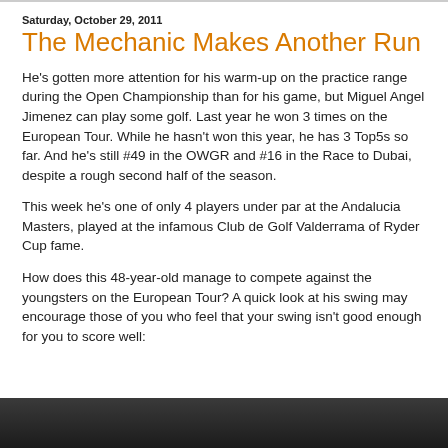Saturday, October 29, 2011
The Mechanic Makes Another Run
He's gotten more attention for his warm-up on the practice range during the Open Championship than for his game, but Miguel Angel Jimenez can play some golf. Last year he won 3 times on the European Tour. While he hasn't won this year, he has 3 Top5s so far. And he's still #49 in the OWGR and #16 in the Race to Dubai, despite a rough second half of the season.
This week he's one of only 4 players under par at the Andalucia Masters, played at the infamous Club de Golf Valderrama of Ryder Cup fame.
How does this 48-year-old manage to compete against the youngsters on the European Tour? A quick look at his swing may encourage those of you who feel that your swing isn't good enough for you to score well:
[Figure (photo): Dark photograph strip at the bottom of the page, partially visible.]